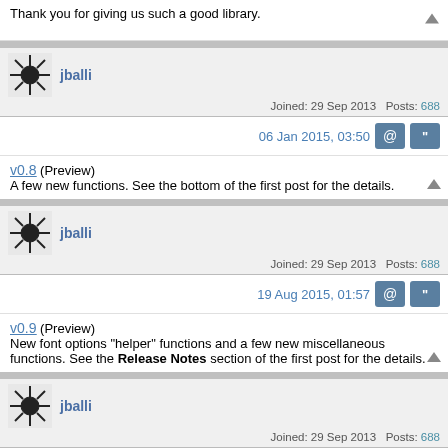Thank you for giving us such a good library.
jballi
Joined: 29 Sep 2013  Posts: 688
06 Jan 2015, 03:50
v0.8 (Preview)
A few new functions. See the bottom of the first post for the details.
jballi
Joined: 29 Sep 2013  Posts: 688
19 Aug 2015, 01:57
v0.9 (Preview)
New font options "helper" functions and a few new miscellaneous functions. See the Release Notes section of the first post for the details.
jballi
Joined: 29 Sep 2013  Posts: 688
04 Nov 2015, 21:20